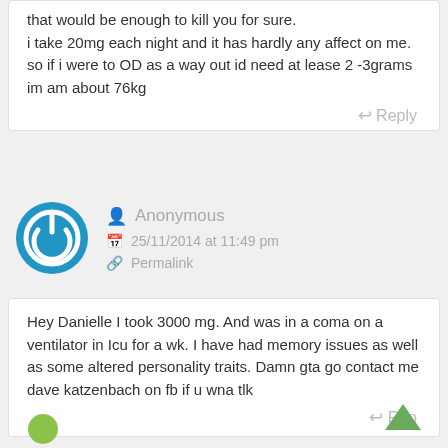that would be enough to kill you for sure. i take 20mg each night and it has hardly any affect on me. so if i were to OD as a way out id need at lease 2 -3grams im am about 76kg
Reply
Anonymous
25/11/2014 at 11:49 pm
Permalink
Hey Danielle I took 3000 mg. And was in a coma on a ventilator in Icu for a wk. I have had memory issues as well as some altered personality traits. Damn gta go contact me dave katzenbach on fb if u wna tlk
Reply